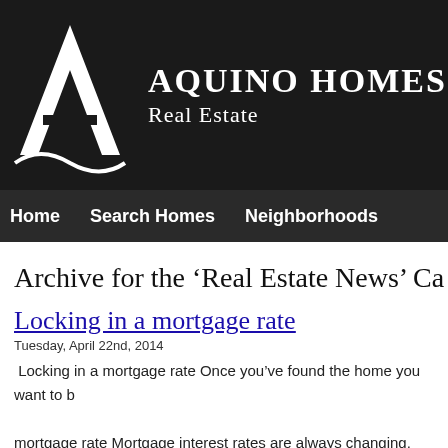[Figure (logo): Aquino Homes Real Estate logo with stylized A monogram on dark background]
Home   Search Homes   Neighborhoods
Archive for the 'Real Estate News' Ca
Locking in a mortgage rate
Tuesday, April 22nd, 2014
Locking in a mortgage rate Once you've found the home you want to buy... mortgage rate Mortgage interest rates are always changing. Each day,... slightest amount. But when a lender locks in your mortgage rate, your... application...Read More »